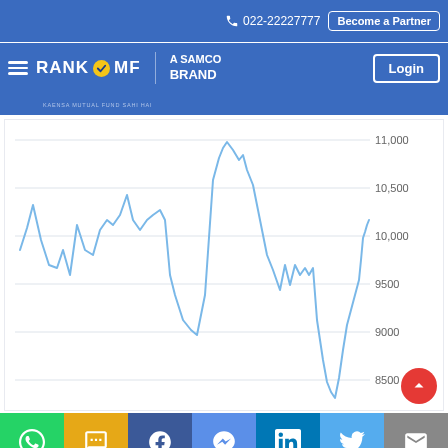📞 022-22227777   Become a Partner
[Figure (logo): RANKMF - A SAMCO BRAND logo with hamburger menu and Login button in blue navigation bar]
[Figure (continuous-plot): Line chart showing index/fund value fluctuations over time. Y-axis labels: 8500, 9000, 9500, 10,000, 10,500, 11,000. The line is light blue, showing a volatile path with peaks near 11,000 and troughs near 8,500.]
WhatsApp | SMS | Facebook | Messenger | LinkedIn | Twitter | Email social share buttons